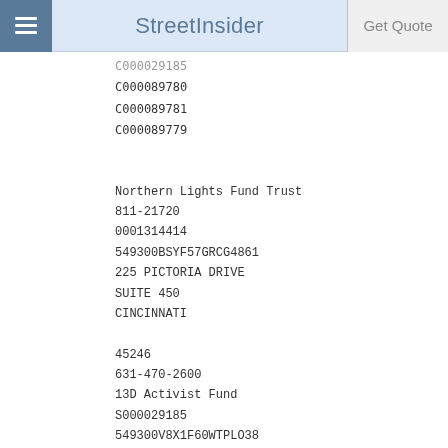StreetInsider | Get Quote
C000029185
C000089780
C000089781
C000089779
Northern Lights Fund Trust
811-21720
0001314414
549300BSYF57GRCG4861
225 PICTORIA DRIVE
SUITE 450
CINCINNATI

45246
631-470-2600
13D Activist Fund
S000029185
549300V8X1F60WTPLO38
2022-09-30